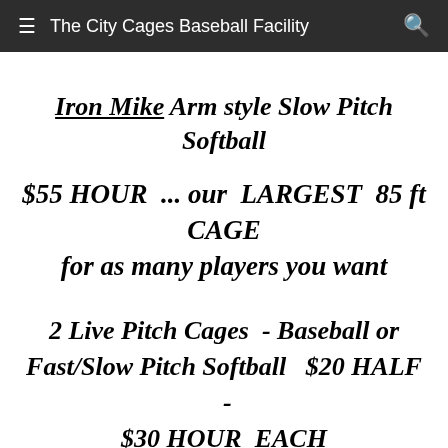The City Cages Baseball Facility
Iron Mike Arm style Slow Pitch Softball
$55 HOUR ... our LARGEST 85 ft CAGE for as many players you want
2 Live Pitch Cages - Baseball or Fast/Slow Pitch Softball $20 HALF - $30 HOUR EACH